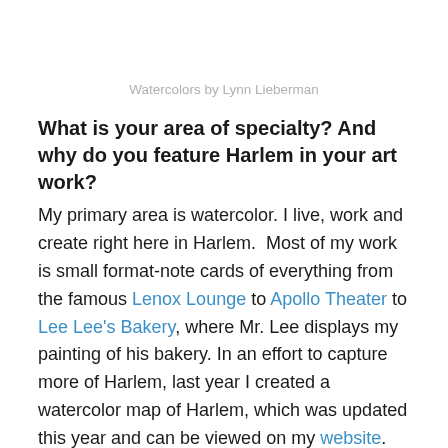Watercolors by Lynn Lieberman
What is your area of specialty? And why do you feature Harlem in your art work?
My primary area is watercolor. I live, work and create right here in Harlem.  Most of my work is small format-note cards of everything from the famous Lenox Lounge to Apollo Theater to Lee Lee's Bakery, where Mr. Lee displays my painting of his bakery. In an effort to capture more of Harlem, last year I created a watercolor map of Harlem, which was updated this year and can be viewed on my website.
As for why Harlem, we have street after street of graceful